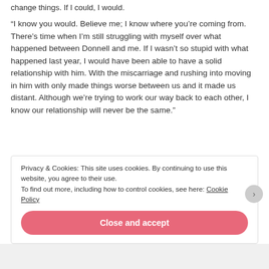change things. If I could, I would.
“I know you would. Believe me; I know where you’re coming from. There’s time when I’m still struggling with myself over what happened between Donnell and me. If I wasn’t so stupid with what happened last year, I would have been able to have a solid relationship with him. With the miscarriage and rushing into moving in him with only made things worse between us and it made us distant. Although we’re trying to work our way back to each other, I know our relationship will never be the same.”
Privacy & Cookies: This site uses cookies. By continuing to use this website, you agree to their use.
To find out more, including how to control cookies, see here: Cookie Policy
Close and accept